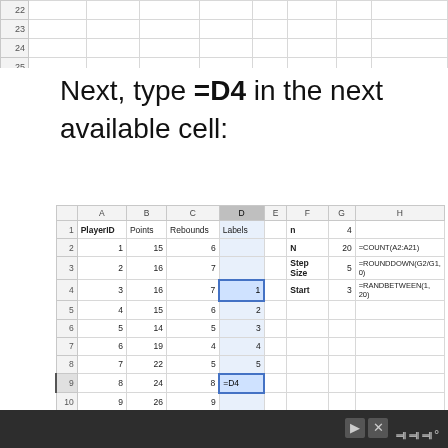|  | A | B | C | D | E | F | G | H |
| --- | --- | --- | --- | --- | --- | --- | --- | --- |
| 22 |  |  |  |  |  |  |  |  |
| 23 |  |  |  |  |  |  |  |  |
| 24 |  |  |  |  |  |  |  |  |
| 25 |  |  |  |  |  |  |  |  |
Next, type =D4 in the next available cell:
|  | A | B | C | D | E | F | G | H |
| --- | --- | --- | --- | --- | --- | --- | --- | --- |
| 1 | PlayerID | Points | Rebounds | Labels |  | n | 4 |  |
| 2 | 1 | 15 | 6 |  |  | N | 20 | =COUNT(A2:A21) |
| 3 | 2 | 16 | 7 |  |  | Step Size | 5 | =ROUNDDOWN(G2/G1, 0) |
| 4 | 3 | 16 | 7 | 1 |  | Start | 3 | =RANDBETWEEN(1, 20) |
| 5 | 4 | 15 | 6 | 2 |  |  |  |  |
| 6 | 5 | 14 | 5 | 3 |  |  |  |  |
| 7 | 6 | 19 | 4 | 4 |  |  |  |  |
| 8 | 7 | 22 | 5 | 5 |  |  |  |  |
| 9 | 8 | 24 | 8 | =D4 |  |  |  |  |
| 10 | 9 | 26 | 9 |  |  |  |  |  |
| 11 | 10 | 19 | 11 |  |  |  |  |  |
| 12 | 11 | 11 | 4 |  |  |  |  |  |
| 13 | 12 | 9 | 12 |  |  |  |  |  |
| 14 | 13 | 8 | 5 |  |  |  |  |  |
| 15 | 14 | 12 | 13 |  |  |  |  |  |
| 16 | 15 | 15 | 13 |  |  |  |  |  |
| 17 | 16 | 15 | 9 |  |  |  |  |  |
| 18 | 17 | 21 | 4 |  |  |  |  |  |
| 19 | 18 | 31 | 4 |  |  |  |  |  |
| 20 | 19 | 34 | 3 |  |  |  |  |  |
| 21 | 20 |  | 1 |  |  |  |  |  |